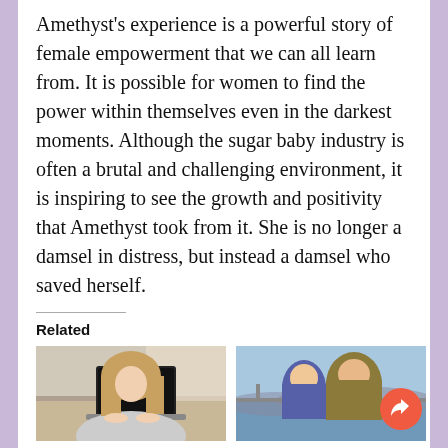Amethyst's experience is a powerful story of female empowerment that we can all learn from. It is possible for women to find the power within themselves even in the darkest moments. Although the sugar baby industry is often a brutal and challenging environment, it is inspiring to see the growth and positivity that Amethyst took from it. She is no longer a damsel in distress, but instead a damsel who saved herself.
Related
[Figure (photo): Woman working on a laptop computer]
Reclaiming BAME: Why I Started a Magazine for
[Figure (photo): Two women wearing hijabs looking out over water]
Muslims on TV — Is No Representation Better